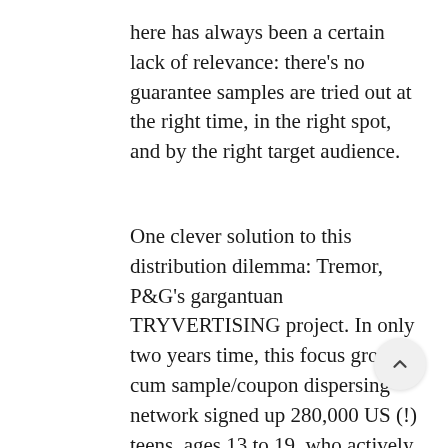here has always been a certain lack of relevance: there's no guarantee samples are tried out at the right time, in the right spot, and by the right target audience.
One clever solution to this distribution dilemma: Tremor, P&G's gargantuan TRYVERTISING project. In only two years time, this focus group cum sample/coupon dispersing network signed up 280,000 US (!) teens, ages 13 to 19, who actively promote new products to their peers, and may be asked to place coupons and product samples in living rooms, schools and any other relevant location. Next? Tremor Moms, of course!